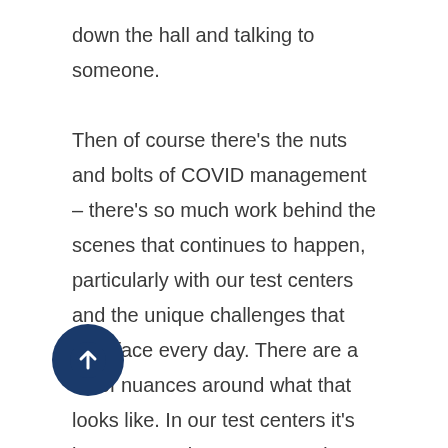down the hall and talking to someone.

Then of course there's the nuts and bolts of COVID management – there's so much work behind the scenes that continues to happen, particularly with our test centers and the unique challenges that they face every day. There are a lot of nuances around what that looks like. In our test centers it's been a complex process and when you stop and think about how often the laws have changed (particularly in the US) it's incredible. For nearly two years now, we've had a number of different meetings every week with a cross-functional group from around the business working through the complexities with all of this, just to stay on top of it on behalf of our employees, clients and test-takers. Our test employees and test center leadership have done a tremendous job of staying focused and managing through